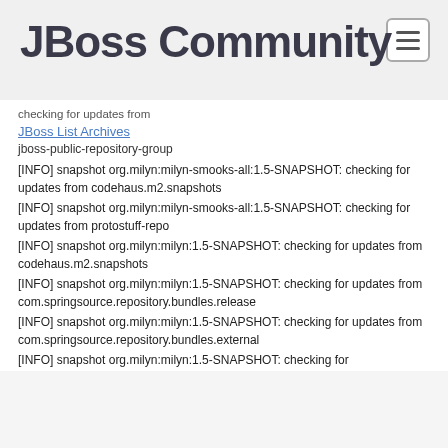[Figure (logo): JBoss Community logo with hamburger navigation button]
checking for updates from
JBoss List Archives
jboss-public-repository-group
[INFO] snapshot org.milyn:milyn-smooks-all:1.5-SNAPSHOT: checking for updates from codehaus.m2.snapshots
[INFO] snapshot org.milyn:milyn-smooks-all:1.5-SNAPSHOT: checking for updates from protostuff-repo
[INFO] snapshot org.milyn:milyn:1.5-SNAPSHOT: checking for updates from codehaus.m2.snapshots
[INFO] snapshot org.milyn:milyn:1.5-SNAPSHOT: checking for updates from com.springsource.repository.bundles.release
[INFO] snapshot org.milyn:milyn:1.5-SNAPSHOT: checking for updates from com.springsource.repository.bundles.external
[INFO] snapshot org.milyn:milyn:1.5-SNAPSHOT: checking for